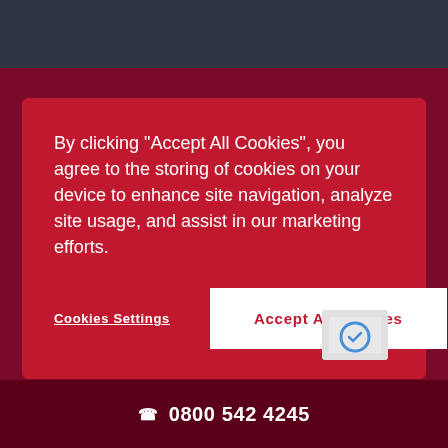[Figure (screenshot): Dark navigation bar at the top of a law firm website]
By clicking “Accept All Cookies“, you agree to the storing of cookies on your device to enhance site navigation, analyze site usage, and assist in our marketing efforts.
Cookies Settings
Accept All Cookies
Phone number *
I am happy for a voicemail to be left and / or an email to be sent if Sills & Betteridge cannot reach me
Office *
0800 542 4245